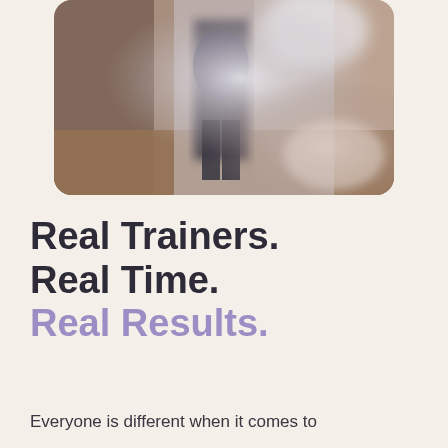[Figure (photo): A blurred photograph of a person standing in a gym or fitness studio, shot in portrait orientation with warm and cool tones, wood floor visible, rounded corners on the image.]
Real Trainers.
Real Time.
Real Results.
Everyone is different when it comes to